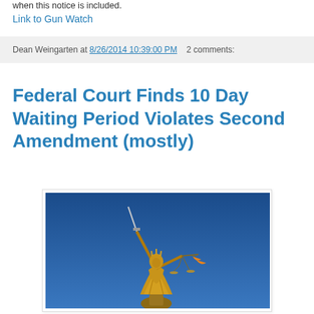when this notice is included.
Link to Gun Watch
Dean Weingarten at 8/26/2014 10:39:00 PM   2 comments:
Federal Court Finds 10 Day Waiting Period Violates Second Amendment (mostly)
[Figure (photo): Golden statue of Lady Justice holding scales and sword against a blue sky background]